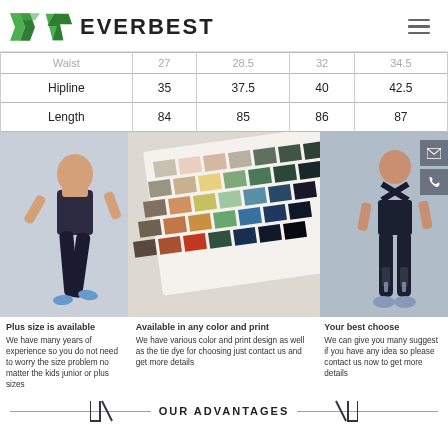EVERBEST
|  |  |  |  |  |
| --- | --- | --- | --- | --- |
| Waist | 27 | 28.5 | 32 | 34.5 |
| Hipline | 35 | 37.5 | 40 | 42.5 |
| Length | 84 | 85 | 86 | 87 |
[Figure (photo): Female athlete running wearing dark sports bra and leggings]
[Figure (photo): Color and print swatch card showing multiple fabric color options]
[Figure (photo): Female athlete back view wearing dark cross-back sports bra and leggings]
Plus size is available
We have many years of experience so you do not need to worry the size problem no matter the kids junior or plus sizes
Available in any color and print
We have various color and print design as well as the tie dye for choosing just contact us and get more details
Your best choose
We can give you many suggest if you have any idea so please contact us now to get more details
OUR ADVANTAGES